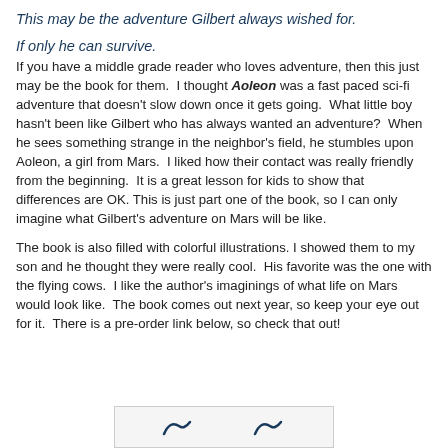This may be the adventure Gilbert always wished for.
If only he can survive.
If you have a middle grade reader who loves adventure, then this just may be the book for them.  I thought Aoleon was a fast paced sci-fi adventure that doesn't slow down once it gets going.  What little boy hasn't been like Gilbert who has always wanted an adventure?  When he sees something strange in the neighbor's field, he stumbles upon Aoleon, a girl from Mars.  I liked how their contact was really friendly from the beginning.  It is a great lesson for kids to show that differences are OK. This is just part one of the book, so I can only imagine what Gilbert's adventure on Mars will be like.
The book is also filled with colorful illustrations. I showed them to my son and he thought they were really cool.  His favorite was the one with the flying cows.  I like the author's imaginings of what life on Mars would look like.  The book comes out next year, so keep your eye out for it.  There is a pre-order link below, so check that out!
[Figure (other): Partial footer strip with two bird/arrow icons on a light background, cropped at bottom of page.]